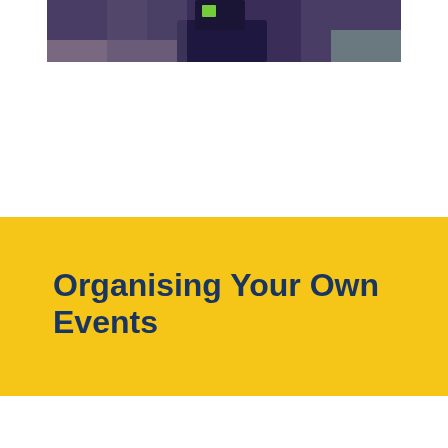[Figure (photo): Partial photo of a person wearing dark navy blue clothing, cropped at top of page]
Organising Your Own Events